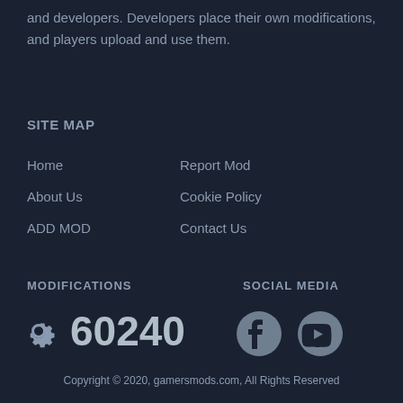and developers. Developers place their own modifications, and players upload and use them.
SITE MAP
Home
Report Mod
About Us
Cookie Policy
ADD MOD
Contact Us
MODIFICATIONS
SOCIAL MEDIA
[Figure (infographic): Gear icon with modification count 60240]
[Figure (infographic): Facebook and YouTube social media icons]
Copyright © 2020, gamersmods.com, All Rights Reserved